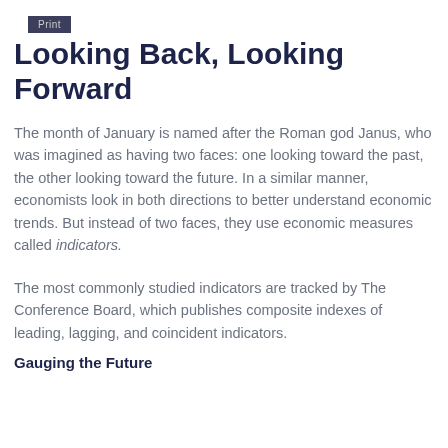Print
Looking Back, Looking Forward
The month of January is named after the Roman god Janus, who was imagined as having two faces: one looking toward the past, the other looking toward the future. In a similar manner, economists look in both directions to better understand economic trends. But instead of two faces, they use economic measures called indicators.
The most commonly studied indicators are tracked by The Conference Board, which publishes composite indexes of leading, lagging, and coincident indicators.
Gauging the Future